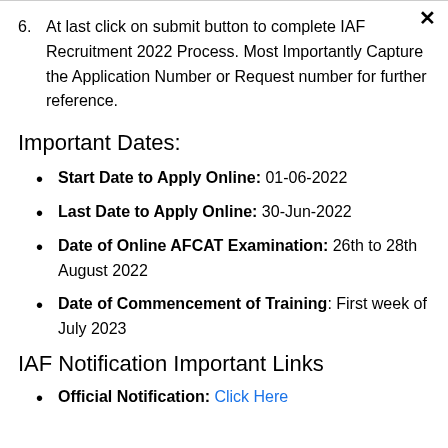6. At last click on submit button to complete IAF Recruitment 2022 Process. Most Importantly Capture the Application Number or Request number for further reference.
Important Dates:
Start Date to Apply Online: 01-06-2022
Last Date to Apply Online: 30-Jun-2022
Date of Online AFCAT Examination: 26th to 28th August 2022
Date of Commencement of Training: First week of July 2023
IAF Notification Important Links
Official Notification: Click Here